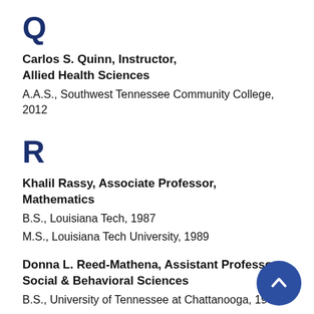Q
Carlos S. Quinn, Instructor, Allied Health Sciences
A.A.S., Southwest Tennessee Community College, 2012
R
Khalil Rassy, Associate Professor, Mathematics
B.S., Louisiana Tech, 1987
M.S., Louisiana Tech University, 1989
Donna L. Reed-Mathena, Assistant Professor, Social & Behavioral Sciences
B.S., University of Tennessee at Chattanooga, 1972
M.S., Memphis State University, 1981